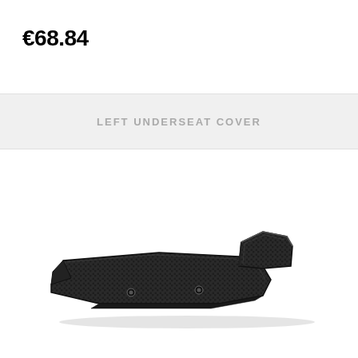€68.84
LEFT UNDERSEAT COVER
[Figure (photo): A black carbon fiber left underseat cover for a motorcycle, with a curved elongated panel shape and a raised bracket/tab at the right side, shown on a white background.]